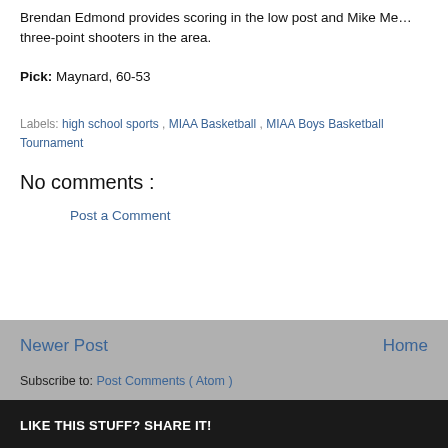Brendan Edmond provides scoring in the low post and Mike Me… three-point shooters in the area.
Pick: Maynard, 60-53
Labels: high school sports , MIAA Basketball , MIAA Boys Basketball Tournament
No comments :
Post a Comment
Newer Post
Home
Subscribe to: Post Comments ( Atom )
LIKE THIS STUFF? SHARE IT!